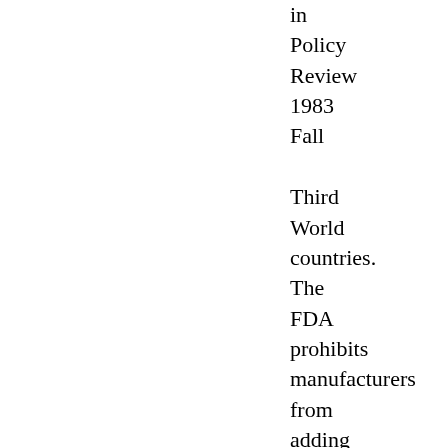in Policy Review 1983 Fall Third World countries. The FDA prohibits manufacturers from adding nutrients to candy and soft drinks - - or to